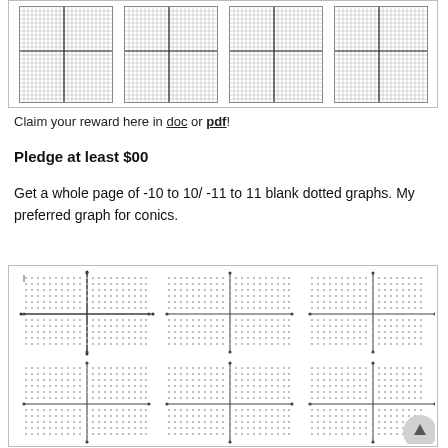[Figure (other): Four small coordinate grid graphs arranged in a row inside a bordered box]
Claim your reward here in doc or pdf!
Pledge at least $00
Get a whole page of -10 to 10/ -11 to 11 blank dotted graphs. My preferred graph for conics.
[Figure (other): Six dotted coordinate plane graphs arranged in a 2-row by 3-column grid inside a bordered box, each with x and y axes marked]